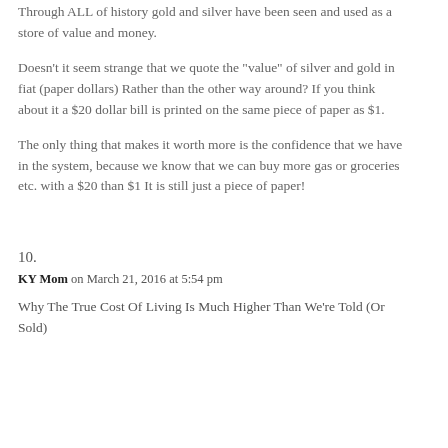Through ALL of history gold and silver have been seen and used as a store of value and money.
Doesn’t it seem strange that we quote the “value” of silver and gold in fiat (paper dollars) Rather than the other way around? If you think about it a $20 dollar bill is printed on the same piece of paper as $1.
The only thing that makes it worth more is the confidence that we have in the system, because we know that we can buy more gas or groceries etc. with a $20 than $1 It is still just a piece of paper!
10.
KY Mom on March 21, 2016 at 5:54 pm
Why The True Cost Of Living Is Much Higher Than We’re Told (Or Sold)